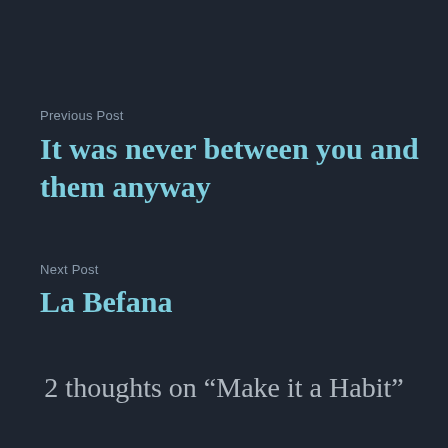Previous Post
It was never between you and them anyway
Next Post
La Befana
2 thoughts on “Make it a Habit”